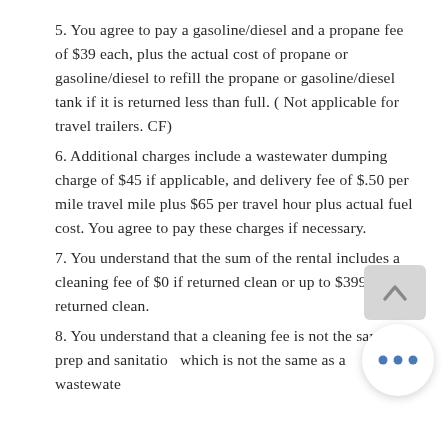5. You agree to pay a gasoline/diesel and a propane fee of $39 each, plus the actual cost of propane or gasoline/diesel to refill the propane or gasoline/diesel tank if it is returned less than full. ( Not applicable for travel trailers. CF)
6. Additional charges include a wastewater dumping charge of $45 if applicable, and delivery fee of $.50 per mile travel mile plus $65 per travel hour plus actual fuel cost. You agree to pay these charges if necessary.
7. You understand that the sum of the rental includes a cleaning fee of $0 if returned clean or up to $399 if not returned clean.
8. You understand that a cleaning fee is not the same as a prep and sanitation which is not the same as a wastewater charge...